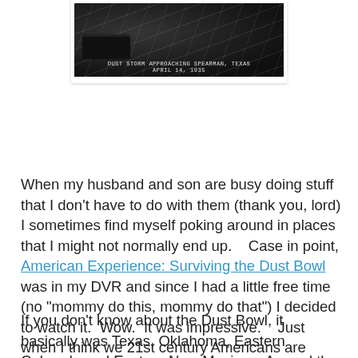[Figure (photo): Black and white photograph of a dust storm approaching Spearman, Texas, April 14, 1935. The photo shows dark rolling clouds, utility poles, and a building silhouette. Handwritten caption at bottom reads 'DUST STORM APPROACHING SPEARMAN, TEXAS APRIL 14, 1935'.]
When my husband and son are busy doing stuff that I don't have to do with them (thank you, lord) I sometimes find myself poking around in places that I might not normally end up.    Case in point, American Experience: Surviving the Dust Bowl   was in my DVR and since I had a little free time (no "mommy do this, mommy do that") I decided to watch it.  Wow.  It was impressive.    Just when I think we 21st century Americans are having tough times now, well we have got nothing on those people in the plains states during the dust bowl.
If you don't know about the Dust Bowl, it basically was Texas, Oklahoma, Eastern Colorado and Eastern New Mexico.   Around the turn of the last century railroad speculators joined up with land speculators and promoted